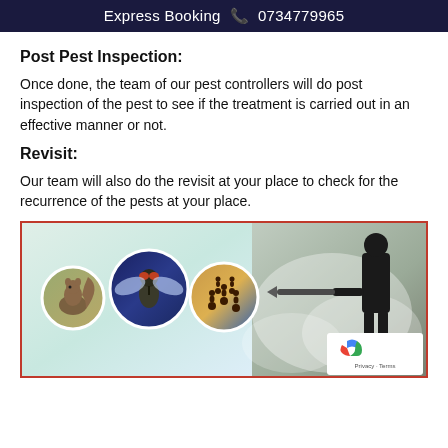Express Booking 📞 0734779965
Post Pest Inspection:
Once done, the team of our pest controllers will do post inspection of the pest to see if the treatment is carried out in an effective manner or not.
Revisit:
Our team will also do the revisit at your place to check for the recurrence of the pests at your place.
[Figure (photo): Collage showing three circular images of pests (squirrel, fly, ants) on a light background, alongside a person spraying pest control with a machine emitting smoke/fog. A reCAPTCHA badge is visible in the bottom right corner.]